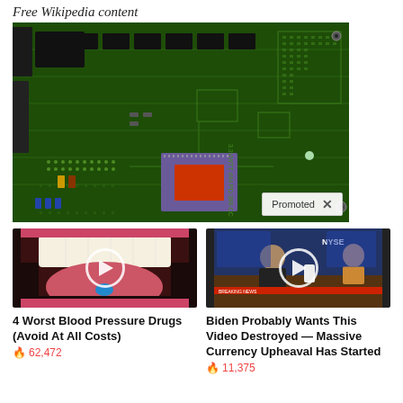Free Wikipedia content
[Figure (photo): Close-up photograph of a green printed circuit board (PCB) with various electronic components including a purple chip with a red heat spreader, capacitors, resistors, and other components. Shows 'Promoted' badge in lower right corner with an X button.]
[Figure (photo): Advertisement thumbnail: close-up of a mouth/tongue with a blue pill, play button overlay]
4 Worst Blood Pressure Drugs (Avoid At All Costs)
🔥 62,472
[Figure (photo): Advertisement thumbnail: NYSE news studio with a man in suit at desk, play button overlay]
Biden Probably Wants This Video Destroyed — Massive Currency Upheaval Has Started
🔥 11,375